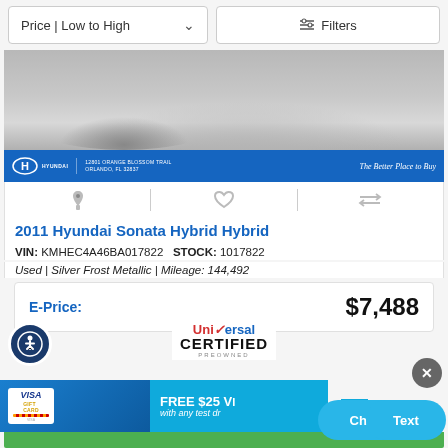Price | Low to High   Filters
[Figure (photo): Front view of a silver Hyundai car in a dealership. Blue dealer banner at bottom reads: 12801 Orange Blossom Trail, Orlando, FL 32837 | The Better Place to Buy]
2011 Hyundai Sonata Hybrid Hybrid
VIN: KMHEC4A46BA017822   STOCK: 1017822
Used | Silver Frost Metallic | Mileage: 144,492
| E-Price: | $7,488 |
| --- | --- |
[Figure (logo): Universal Certified Preowned logo]
FREE $25 V... with any test dr...
Chat   Text